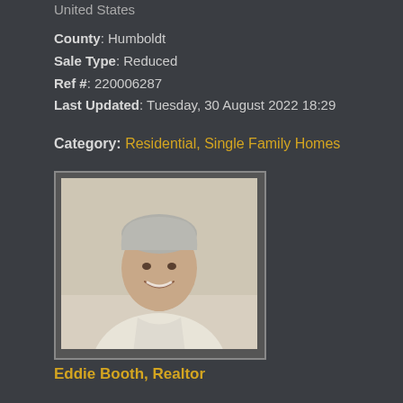United States
County: Humboldt
Sale Type: Reduced
Ref #: 220006287
Last Updated: Tuesday, 30 August 2022 18:29
Category: Residential, Single Family Homes
[Figure (photo): Headshot photo of Eddie Booth, a smiling older man with grey hair wearing a light-colored polo shirt, against a neutral background]
Eddie Booth, Realtor